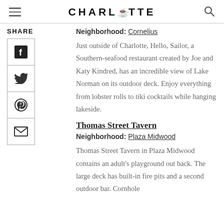CHARLOTTE
Neighborhood: Cornelius
Just outside of Charlotte, Hello, Sailor, a Southern-seafood restaurant created by Joe and Katy Kindred, has an incredible view of Lake Norman on its outdoor deck. Enjoy everything from lobster rolls to tiki cocktails while hanging lakeside.
Thomas Street Tavern
Neighborhood: Plaza Midwood
Thomas Street Tavern in Plaza Midwood contains an adult's playground out back. The large deck has built-in fire pits and a second outdoor bar. Cornhole